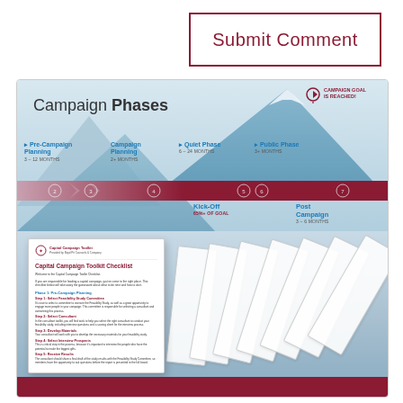Submit Comment
[Figure (infographic): Campaign Phases infographic showing Pre-Campaign Planning (3-12 months), Campaign Planning (2+ months), Quiet Phase (6-24 months), Public Phase (3+ months), Kick-Off (65%+ of goal), Post Campaign (3-6 months), with a mountain graphic and CAMPAIGN GOAL IS REACHED! flag at the top, plus stacked document previews of Capital Campaign Toolkit Checklist below.]